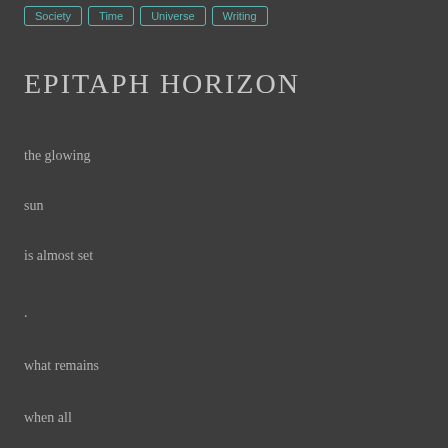Society | Time | Universe | Writing
EPITAPH HORIZON
the glowing
sun
is almost set
.
what remains
when all